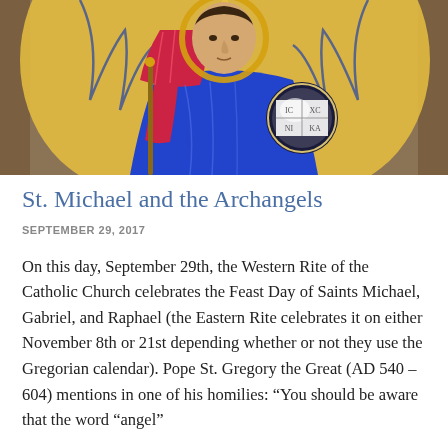[Figure (photo): Religious icon painting of St. Michael the Archangel in red and blue robes with golden wings, holding a staff, with a circular emblem showing IC XC / NI KA]
St. Michael and the Archangels
SEPTEMBER 29, 2017
On this day, September 29th, the Western Rite of the Catholic Church celebrates the Feast Day of Saints Michael, Gabriel, and Raphael (the Eastern Rite celebrates it on either November 8th or 21st depending whether or not they use the Gregorian calendar). Pope St. Gregory the Great (AD 540 – 604) mentions in one of his homilies: “You should be aware that the word “angel”